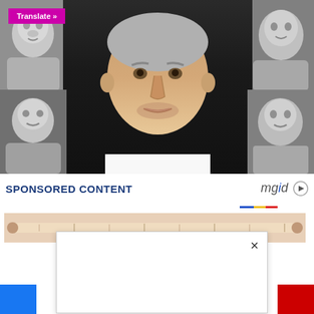[Figure (photo): Composite image showing a man in center (color) surrounded by four black-and-white photos of young girls in the corners. A 'Translate »' button in magenta appears top-left.]
Translate »
SPONSORED CONTENT
[Figure (logo): mgid logo with play button icon]
[Figure (photo): Advertisement image strip showing a measuring tape]
[Figure (screenshot): White popup overlay with an X close button]
[Figure (other): Blue button partially visible at bottom left]
[Figure (other): Red button partially visible at bottom right]